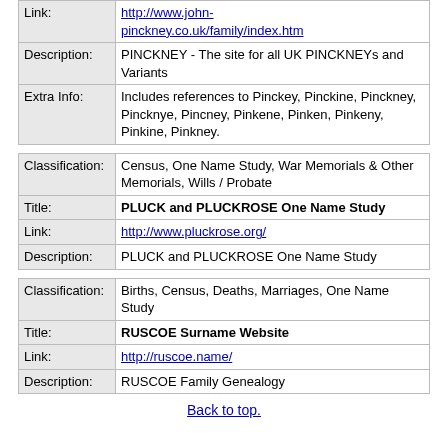| Link: | http://www.john-pinckney.co.uk/family/index.htm |
| Description: | PINCKNEY - The site for all UK PINCKNEYs and Variants |
| Extra Info: | Includes references to Pinckey, Pinckine, Pinckney, Pincknye, Pincney, Pinkene, Pinken, Pinkeny, Pinkine, Pinkney. |
| Classification: | Census, One Name Study, War Memorials & Other Memorials, Wills / Probate |
| Title: | PLUCK and PLUCKROSE One Name Study |
| Link: | http://www.pluckrose.org/ |
| Description: | PLUCK and PLUCKROSE One Name Study |
| Classification: | Births, Census, Deaths, Marriages, One Name Study |
| Title: | RUSCOE Surname Website |
| Link: | http://ruscoe.name/ |
| Description: | RUSCOE Family Genealogy |
Back to top.